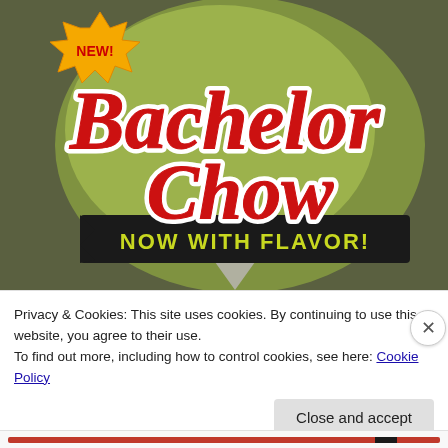[Figure (illustration): Bachelor Chow product logo illustration on olive/dark green background. Large red cursive text reads 'Bachelor Chow' with white outline. A yellow starburst badge in upper left reads 'NEW!' in bold. Behind the text is a light green speech bubble shape. A black banner at bottom reads 'NOW WITH FLAVOR!' in yellow block letters. Below the banner is a gray speech bubble tail.]
Privacy & Cookies: This site uses cookies. By continuing to use this website, you agree to their use.
To find out more, including how to control cookies, see here: Cookie Policy
Close and accept